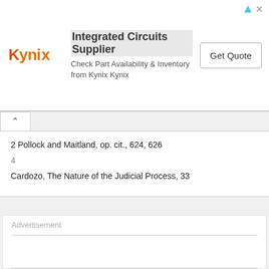[Figure (other): Kynix advertisement banner with logo, text 'Integrated Circuits Supplier', 'Check Part Availability & Inventory from Kynix Kynix', and a 'Get Quote' button]
2 Pollock and Maitland, op. cit., 624, 626
4
Cardozo, The Nature of the Judicial Process, 33
Advertisement